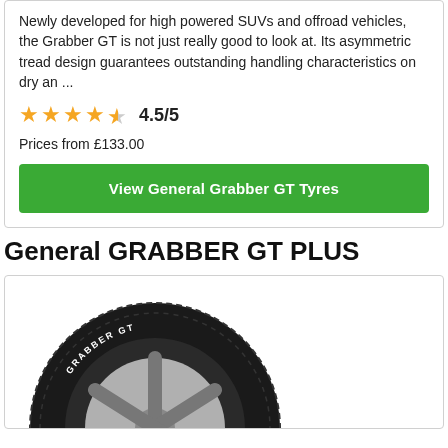Newly developed for high powered SUVs and offroad vehicles, the Grabber GT is not just really good to look at. Its asymmetric tread design guarantees outstanding handling characteristics on dry an ...
4.5/5
Prices from £133.00
View General Grabber GT Tyres
General GRABBER GT PLUS
[Figure (photo): Photo of a General Grabber GT tyre showing tread pattern and sidewall with GRABBER GT branding]